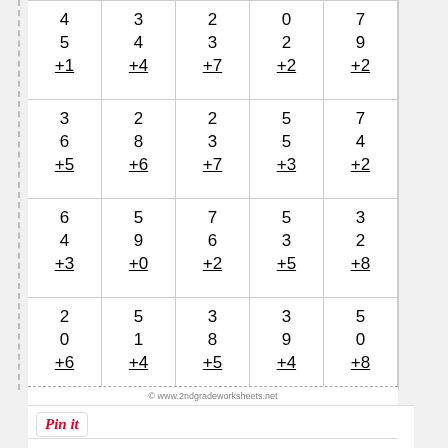| 4
5
+1 | 3
4
+4 | 2
3
+7 | 0
2
+2 | 7
9
+2 |
| 3
6
+5 | 2
8
+6 | 2
3
+7 | 5
5
+3 | 7
4
+2 |
| 6
4
+3 | 5
9
+0 | 7
6
+2 | 5
3
+5 | 3
2
+8 |
| 2
0
+6 | 5
1
+4 | 3
8
+5 | 3
9
+4 | 5
0
+8 |
© www.2ndgradeworksheets.net
Pin it   Math Addition and Subtraction Worksheets 2nd Grade